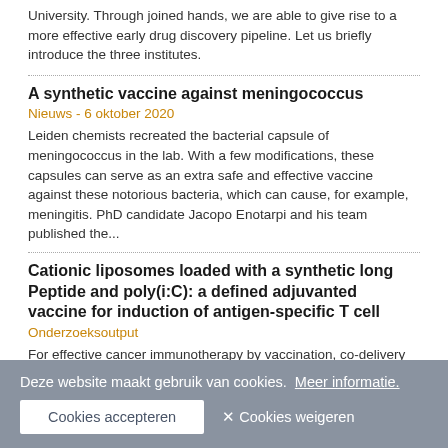University. Through joined hands, we are able to give rise to a more effective early drug discovery pipeline. Let us briefly introduce the three institutes.
A synthetic vaccine against meningococcus
Nieuws - 6 oktober 2020
Leiden chemists recreated the bacterial capsule of meningococcus in the lab. With a few modifications, these capsules can serve as an extra safe and effective vaccine against these notorious bacteria, which can cause, for example, meningitis. PhD candidate Jacopo Enotarpi and his team published the...
Cationic liposomes loaded with a synthetic long Peptide and poly(i:C): a defined adjuvanted vaccine for induction of antigen-specific T cell
Onderzoeksoutput
For effective cancer immunotherapy by vaccination, co-delivery of tumour antigens and adjuvants to dendritic cells and subsequent activation of antigen-specific cytotoxic T cells (CTLs) is crucial. In this study, a synthetic long peptide (SLP) harbouring the model CTL epitope SIINFEKL was encapsulated...
Deze website maakt gebruik van cookies.  Meer informatie.
Cookies accepteren
Cookies weigeren